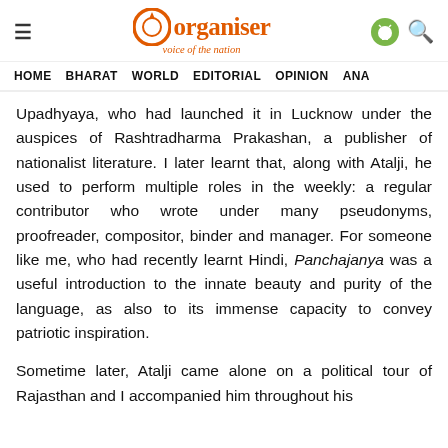Organiser — voice of the nation
HOME   BHARAT   WORLD   EDITORIAL   OPINION   ANA
Upadhyaya, who had launched it in Lucknow under the auspices of Rashtradharma Prakashan, a publisher of nationalist literature. I later learnt that, along with Atalji, he used to perform multiple roles in the weekly: a regular contributor who wrote under many pseudonyms, proofreader, compositor, binder and manager. For someone like me, who had recently learnt Hindi, Panchajanya was a useful introduction to the innate beauty and purity of the language, as also to its immense capacity to convey patriotic inspiration.
Sometime later, Atalji came alone on a political tour of Rajasthan and I accompanied him throughout his